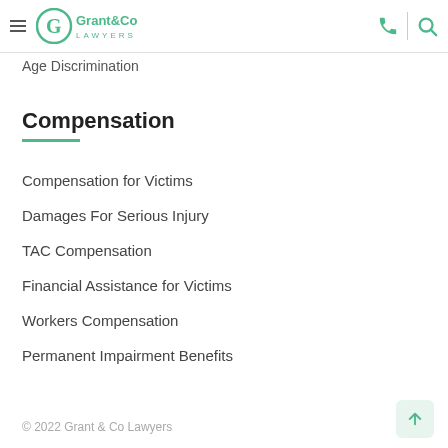Grant & Co Lawyers
Age Discrimination
Compensation
Compensation for Victims
Damages For Serious Injury
TAC Compensation
Financial Assistance for Victims
Workers Compensation
Permanent Impairment Benefits
© 2022 Grant & Co Lawyers